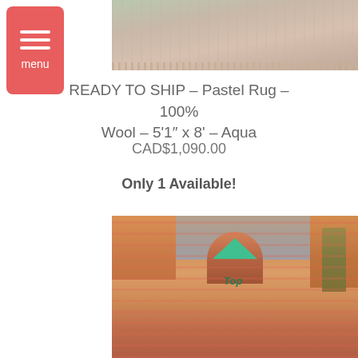[Figure (photo): Close-up top view of a pastel wool rug with fringe detail]
READY TO SHIP – Pastel Rug – 100% Wool – 5'1″ x 8' – Aqua
CAD$1,090.00
Only 1 Available!
[Figure (photo): Woman holding up a colorful pastel Moroccan rug outdoors in Marrakech with buildings and trees visible in background. The rug has pink, orange, and cream patterns with a 'Top' label and green arrow overlay.]